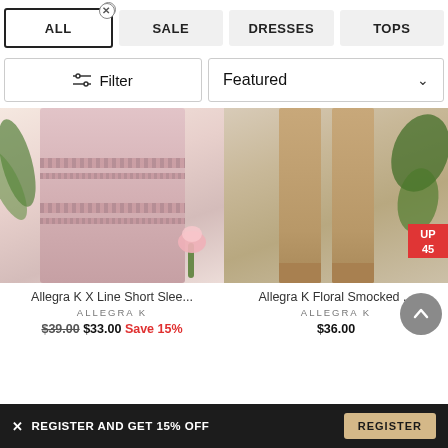ALL | SALE | DRESSES | TOPS
Filter | Featured
[Figure (photo): Pink tweed short sleeve dress with fringe trim layers, model holding pink flowers, against light background]
Allegra K X Line Short Slee...
ALLEGRA K
$39.00 $33.00 Save 15%
[Figure (photo): Allegra K Floral Smocked dress, model showing legs in heeled sandals against sandy background, UP TO 45% sale badge visible]
Allegra K Floral Smocked ...
ALLEGRA K
$36.00
✕ REGISTER AND GET 15% OFF   REGISTER